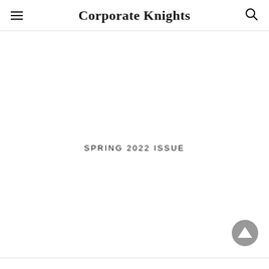Corporate Knights
SPRING 2022 ISSUE